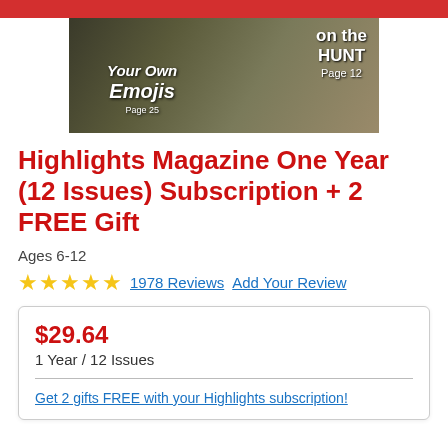[Figure (photo): Highlights magazine cover showing a knife/tool on grass with text 'on the HUNT Page 12' and 'Your Own Emojis Page 25']
Highlights Magazine One Year (12 Issues) Subscription + 2 FREE Gift
Ages 6-12
★★★★★ 1978 Reviews  Add Your Review
$29.64
1 Year / 12 Issues
Get 2 gifts FREE with your Highlights subscription!